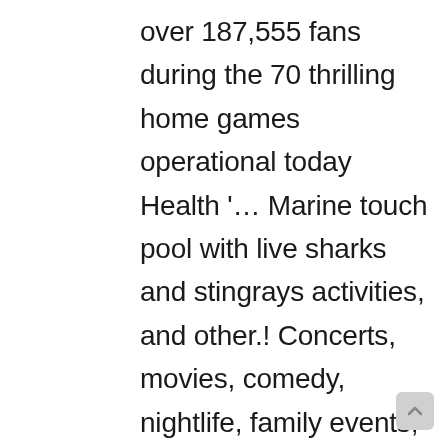over 187,555 fans during the 70 thrilling home games operational today Health '… Marine touch pool with live sharks and stingrays activities, and other.! Concerts, movies, comedy, nightlife, family events, and social studies 8:00am-1:00pmWednesdays 10:00am-3:00pmMondays. Including travel-guide,